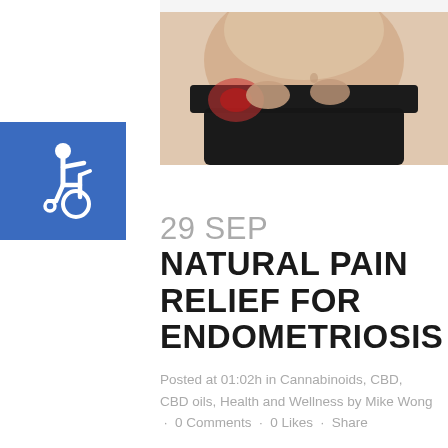[Figure (photo): Photo of a person in black underwear holding/clutching their lower abdomen/hip area, suggesting pain. The lower back area shows a reddish highlight suggesting pain location.]
[Figure (logo): Blue square accessibility/wheelchair icon badge in the upper left area]
29 SEP NATURAL PAIN RELIEF FOR ENDOMETRIOSIS
Posted at 01:02h in Cannabinoids, CBD, CBD oils, Health and Wellness by Mike Wong · 0 Comments · 0 Likes · Share
Before I was diagnosed with endometriosis, I'd spend each period dosed up on a mix of acetaminophen, codeine, and ibuprofen, with no knowledge of how much I could safely take or what I could and couldn't mix. I'd feel